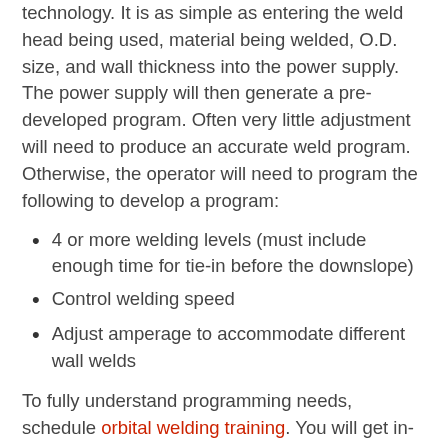technology. It is as simple as entering the weld head being used, material being welded, O.D. size, and wall thickness into the power supply. The power supply will then generate a pre-developed program. Often very little adjustment will need to produce an accurate weld program. Otherwise, the operator will need to program the following to develop a program:
4 or more welding levels (must include enough time for tie-in before the downslope)
Control welding speed
Adjust amperage to accommodate different wall welds
To fully understand programming needs, schedule orbital welding training. You will get in-depth details and hands-on experience while learning from an orbital welding expert.